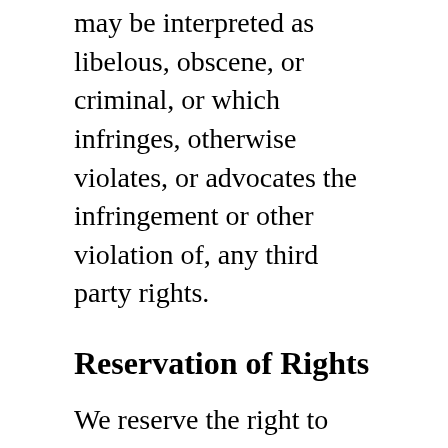may be interpreted as libelous, obscene, or criminal, or which infringes, otherwise violates, or advocates the infringement or other violation of, any third party rights.
Reservation of Rights
We reserve the right to request that you remove all links or any particular link to our Website. You approve to immediately remove all links to our Website upon request. We also reserve the right to amend these terms and conditions and its linking policy at any time. By continuously linking to our Website, you agree to be bound to and follow these linking terms and conditions.